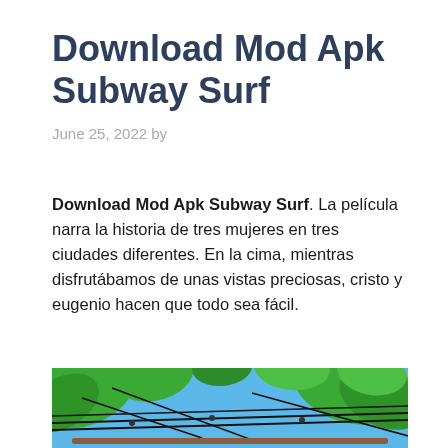Download Mod Apk Subway Surf
June 25, 2022 by
Download Mod Apk Subway Surf. La película narra la historia de tres mujeres en tres ciudades diferentes. En la cima, mientras disfrutábamos de unas vistas preciosas, cristo y eugenio hacen que todo sea fácil.
[Figure (illustration): Illustrated scene from Subway Surf game showing tropical green leaves and vines with power lines and a blue sky background, viewed from below.]